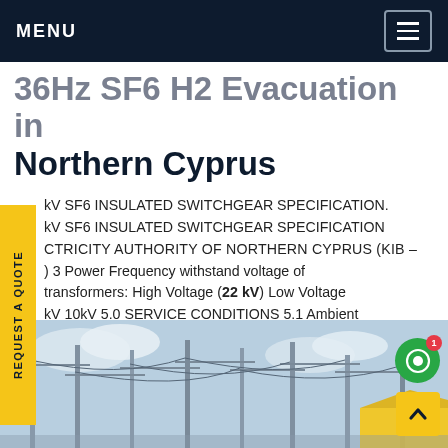MENU
36Hz SF6 H2 Evacuation in Northern Cyprus
kV SF6 INSULATED SWITCHGEAR SPECIFICATION. kV SF6 INSULATED SWITCHGEAR SPECIFICATION ELECTRICITY AUTHORITY OF NORTHERN CYPRUS (KIB –) 3 Power Frequency withstand voltage of transformers: High Voltage (22 kV) Low Voltage kV 10kV 5.0 SERVICE CONDITIONS 5.1 Ambient temperature range (for indoor units) -10 OC to +40 Get PriceGet price
[Figure (photo): Electrical substation or switchgear infrastructure with metal towers and cables against a partly cloudy sky.]